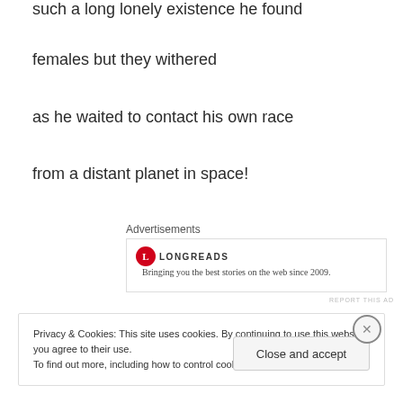such a long lonely existence he found
females but they withered
as he waited to contact his own race
from a distant planet in space!
Advertisements
[Figure (other): Longreads advertisement banner with red circle logo and text: Bringing you the best stories on the web since 2009.]
REPORT THIS AD
Privacy & Cookies: This site uses cookies. By continuing to use this website, you agree to their use.
To find out more, including how to control cookies, see here: Cookie Policy
Close and accept